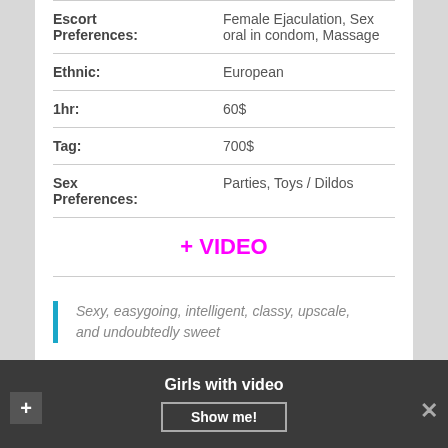| Field | Value |
| --- | --- |
| Escort Preferences: | Female Ejaculation, Sex oral in condom, Massage |
| Ethnic: | European |
| 1hr: | 60$ |
| Tag: | 700$ |
| Sex Preferences: | Parties, Toys / Dildos |
+ VIDEO
Sexy, easygoing, intelligent, classy, upscale, and undoubtedly sweet
Girls with video  Show me!